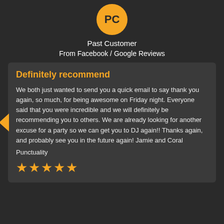[Figure (illustration): Orange circular avatar with initials PC in dark text]
Past Customer
From Facebook / Google Reviews
Definitely recommend
We both just wanted to send you a quick email to say thank you again, so much, for being awesome on Friday night. Everyone said that you were incredible and we will definitely be recommending you to others. We are already looking for another excuse for a party so we can get you to DJ again!! Thanks again, and probably see you in the future again! Jamie and Coral
Punctuality
[Figure (illustration): 5 orange star rating icons]